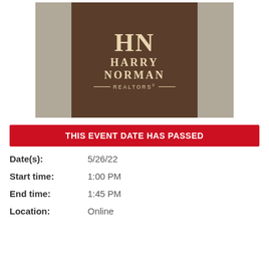[Figure (logo): Harry Norman Realtors logo on a brown square background with a room interior visible on the sides. The logo shows 'HN' monogram above 'HARRY NORMAN' and 'REALTORS' text with decorative lines.]
THIS EVENT DATE HAS PASSED
Date(s): 5/26/22
Start time: 1:00 PM
End time: 1:45 PM
Location: Online